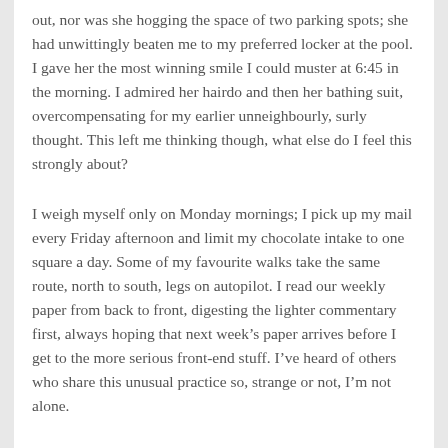out, nor was she hogging the space of two parking spots; she had unwittingly beaten me to my preferred locker at the pool. I gave her the most winning smile I could muster at 6:45 in the morning. I admired her hairdo and then her bathing suit, overcompensating for my earlier unneighbourly, surly thought. This left me thinking though, what else do I feel this strongly about?
I weigh myself only on Monday mornings; I pick up my mail every Friday afternoon and limit my chocolate intake to one square a day. Some of my favourite walks take the same route, north to south, legs on autopilot. I read our weekly paper from back to front, digesting the lighter commentary first, always hoping that next week’s paper arrives before I get to the more serious front-end stuff. I’ve heard of others who share this unusual practice so, strange or not, I’m not alone.